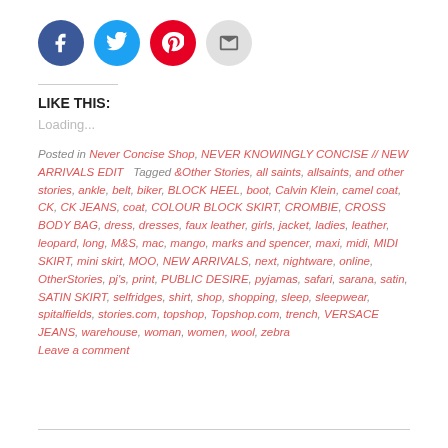[Figure (other): Row of four social sharing icon circles: Facebook (blue), Twitter (blue), Pinterest (red), Email (gray)]
LIKE THIS:
Loading...
Posted in Never Concise Shop, NEVER KNOWINGLY CONCISE // NEW ARRIVALS EDIT   Tagged &Other Stories, all saints, allsaints, and other stories, ankle, belt, biker, BLOCK HEEL, boot, Calvin Klein, camel coat, CK, CK JEANS, coat, COLOUR BLOCK SKIRT, CROMBIE, CROSS BODY BAG, dress, dresses, faux leather, girls, jacket, ladies, leather, leopard, long, M&S, mac, mango, marks and spencer, maxi, midi, MIDI SKIRT, mini skirt, MOO, NEW ARRIVALS, next, nightware, online, OtherStories, pj's, print, PUBLIC DESIRE, pyjamas, safari, sarana, satin, SATIN SKIRT, selfridges, shirt, shop, shopping, sleep, sleepwear, spitalfields, stories.com, topshop, Topshop.com, trench, VERSACE JEANS, warehouse, woman, women, wool, zebra Leave a comment